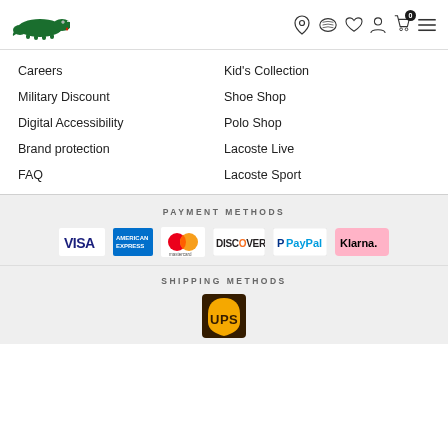[Figure (logo): Lacoste green crocodile logo in header navigation bar with icons for store locator, chat, wishlist, account, cart (0), and menu]
Careers
Kid's Collection
Military Discount
Shoe Shop
Digital Accessibility
Polo Shop
Brand protection
Lacoste Live
FAQ
Lacoste Sport
PAYMENT METHODS
[Figure (logo): Payment method logos: Visa, American Express, Mastercard, Discover, PayPal, Klarna]
SHIPPING METHODS
[Figure (logo): UPS shipping logo]